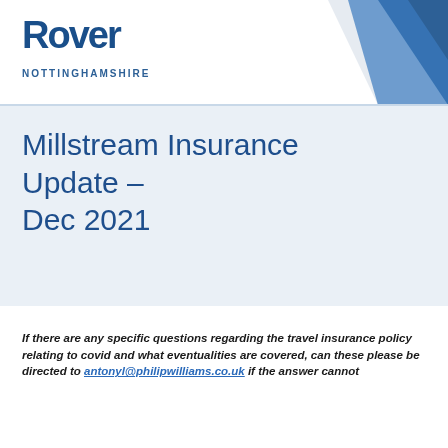NOTTINGHAMSHIRE
Millstream Insurance Update – Dec 2021
If there are any specific questions regarding the travel insurance policy relating to covid and what eventualities are covered, can these please be directed to antonyl@philipwilliams.co.uk if the answer cannot